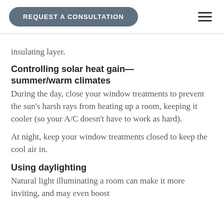REQUEST A CONSULTATION
insulating layer.
Controlling solar heat gain—summer/warm climates
During the day, close your window treatments to prevent the sun's harsh rays from heating up a room, keeping it cooler (so your A/C doesn't have to work as hard).
At night, keep your window treatments closed to keep the cool air in.
Using daylighting
Natural light illuminating a room can make it more inviting, and may even boost